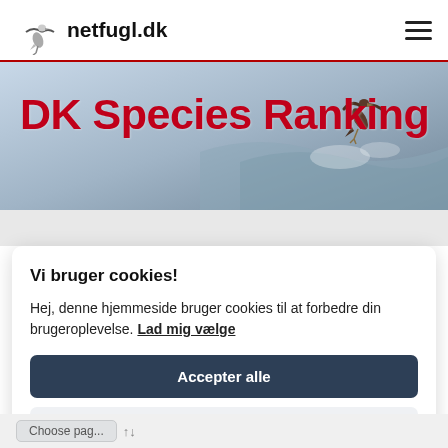netfugl.dk
DK Species Ranking
Vi bruger cookies!
Hej, denne hjemmeside bruger cookies til at forbedre din brugeroplevelse. Lad mig vælge
Accepter alle
Afslå alle
Choose pag...